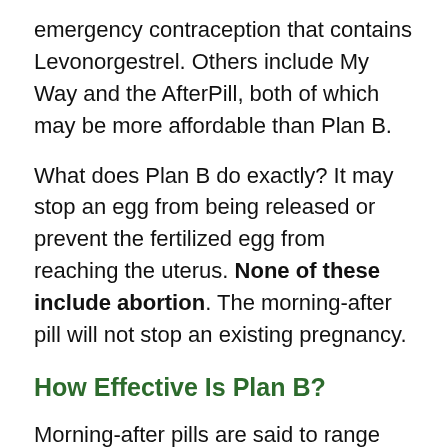emergency contraception that contains Levonorgestrel. Others include My Way and the AfterPill, both of which may be more affordable than Plan B.
What does Plan B do exactly? It may stop an egg from being released or prevent the fertilized egg from reaching the uterus. None of these include abortion. The morning-after pill will not stop an existing pregnancy.
How Effective Is Plan B?
Morning-after pills are said to range between 95% and 89% effective according to, dependent on whether it is taken within the first 24 or 72 hours. However, some research finds them to be more effective: One study discovered that the